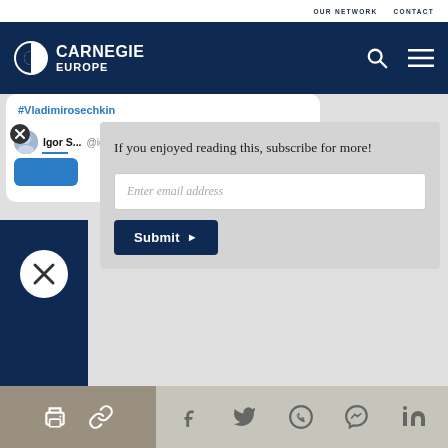Carnegie Europe — OUR NETWORK   CONTACT
[Figure (screenshot): Carnegie Europe website header with logo, search icon, and hamburger menu on dark navy background]
#Vladimirosechkin
[Figure (screenshot): Tweet card showing Igor S... @igors... · Aug 15 with close button and blue partial card]
If you enjoyed reading this, subscribe for more!
Enter email address
Submit ▶
Social sharing icons: print, copy link, Facebook, Twitter, WhatsApp, Messenger, LinkedIn